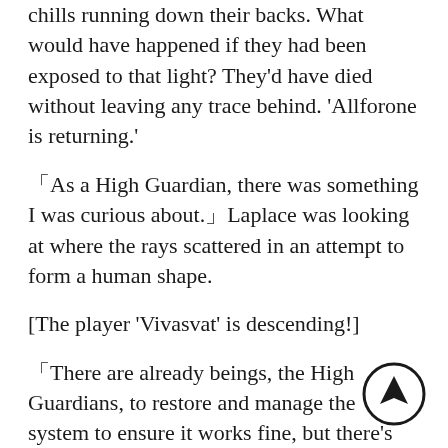Looking at Laplace's half-broken hand, the inmates all felt chills running down their backs. What would have happened if they had been exposed to that light? They'd have died without leaving any trace behind. 'Allforone is returning.'
「As a High Guardian, there was something I was curious about.」Laplace was looking at where the rays scattered in an attempt to form a human shape.
[The player 'Vivasvat' is descending!]
「There are already beings, the High Guardians, to restore and manage the system to ensure it works fine, but there's also a separate incarnation who even has an ego. And it's not like he works with us… I don't know why the B is required. So the result I came to was simple.」Laplace